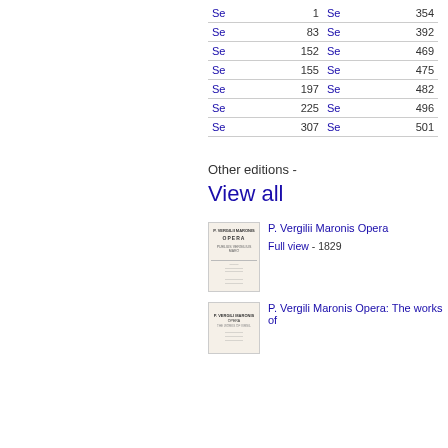| Link | Page | Link | Page |
| --- | --- | --- | --- |
| Se | 1 | Se | 354 |
| Se | 83 | Se | 392 |
| Se | 152 | Se | 469 |
| Se | 155 | Se | 475 |
| Se | 197 | Se | 482 |
| Se | 225 | Se | 496 |
| Se | 307 | Se | 501 |
Other editions -
View all
[Figure (illustration): Small book cover thumbnail for P. Vergilii Maronis Opera, 1829]
P. Vergilii Maronis Opera
Full view - 1829
[Figure (illustration): Small book cover thumbnail for P. Vergili Maronis Opera: The works of]
P. Vergili Maronis Opera: The works of